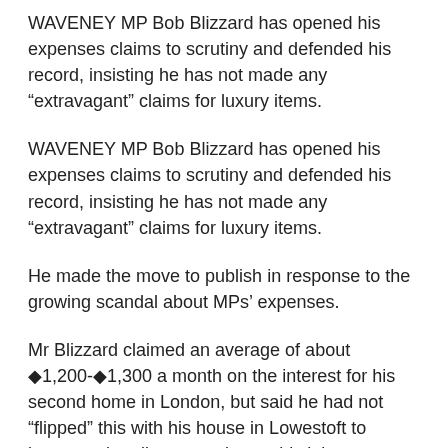WAVENEY MP Bob Blizzard has opened his expenses claims to scrutiny and defended his record, insisting he has not made any “extravagant” claims for luxury items.
WAVENEY MP Bob Blizzard has opened his expenses claims to scrutiny and defended his record, insisting he has not made any “extravagant” claims for luxury items.
He made the move to publish in response to the growing scandal about MPs’ expenses.
Mr Blizzard claimed an average of about ◆1,200-◆1,300 a month on the interest for his second home in London, but said he had not “flipped” this with his house in Lowestoft to increase the allowances he could claim.